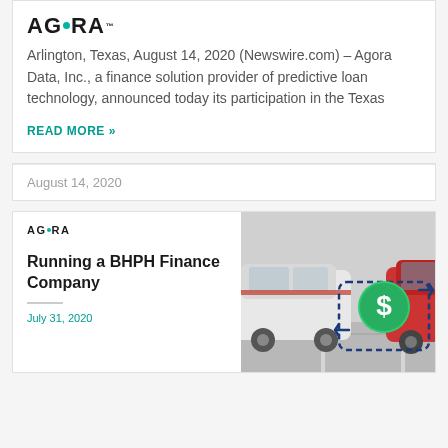[Figure (logo): Agora logo with teal dot accent]
Arlington, Texas, August 14, 2020 (Newswire.com) – Agora Data, Inc., a finance solution provider of predictive loan technology, announced today its participation in the Texas
READ MORE »
August 14, 2020
[Figure (logo): Agora small logo]
Running a BHPH Finance Company
July 31, 2020
[Figure (photo): Car dealership lot with cars parked, overlaid with a money transfer finance icon (green dollar sign circle with arrows)]